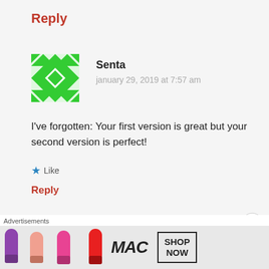Reply
Senta
january 29, 2019 at 7:57 am
I've forgotten: Your first version is great but your second version is perfect!
Like
Reply
Sarah
Advertisements
[Figure (photo): MAC cosmetics advertisement showing colorful lipsticks with SHOP NOW button]